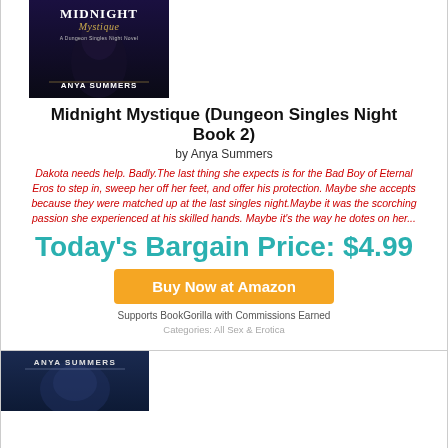[Figure (illustration): Book cover for Midnight Mystique by Anya Summers - A Dungeon Singles Night Novel, dark atmospheric cover]
Midnight Mystique (Dungeon Singles Night Book 2)
by Anya Summers
Dakota needs help. Badly.The last thing she expects is for the Bad Boy of Eternal Eros to step in, sweep her off her feet, and offer his protection. Maybe she accepts because they were matched up at the last singles night.Maybe it was the scorching passion she experienced at his skilled hands. Maybe it's the way he dotes on her...
Today's Bargain Price: $4.99
Buy Now at Amazon
Supports BookGorilla with Commissions Earned
Categories: All Sex & Erotica
[Figure (illustration): Second book cover by Anya Summers - dark blue atmospheric cover partially visible at page bottom]